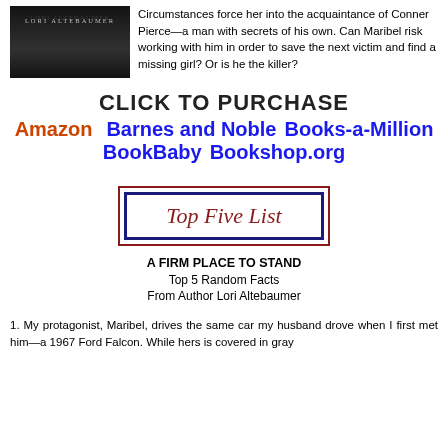[Figure (illustration): Book cover image showing author name LORI ALTEBAUMER on a dark background]
Circumstances force her into the acquaintance of Conner Pierce—a man with secrets of his own. Can Maribel risk working with him in order to save the next victim and find a missing girl? Or is he the killer?
CLICK TO PURCHASE
Amazon    Barnes and Noble    Books-a-Million
BookBaby    Bookshop.org
[Figure (illustration): Decorative bordered box with text 'Top Five List' in red cursive font, with dark red outer border and navy blue inner border]
A FIRM PLACE TO STAND
Top 5 Random Facts
From Author Lori Altebaumer
1. My protagonist, Maribel, drives the same car my husband drove when I first met him—a 1967 Ford Falcon. While hers is covered in gray